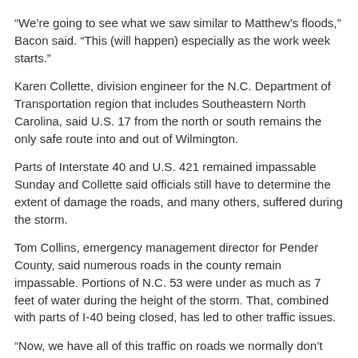“We’re going to see what we saw similar to Matthew’s floods,” Bacon said. “This (will happen) especially as the work week starts.”
Karen Collette, division engineer for the N.C. Department of Transportation region that includes Southeastern North Carolina, said U.S. 17 from the north or south remains the only safe route into and out of Wilmington.
Parts of Interstate 40 and U.S. 421 remained impassable Sunday and Collette said officials still have to determine the extent of damage the roads, and many others, suffered during the storm.
Tom Collins, emergency management director for Pender County, said numerous roads in the county remain impassable. Portions of N.C. 53 were under as much as 7 feet of water during the height of the storm. That, combined with parts of I-40 being closed, has led to other traffic issues.
“Now, we have all of this traffic on roads we normally don’t have,” Collins said.
Pender flooding